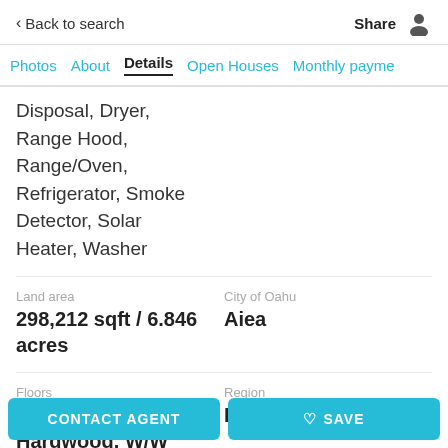< Back to search  Share
Photos  About  Details  Open Houses  Monthly payment
Disposal, Dryer, Range Hood, Range/Oven, Refrigerator, Smoke Detector, Solar Heater, Washer
Land area
298,212 sqft / 6.846 acres
City of Oahu
Aiea
Floors
Ceramic Tile, Hardwood, W/W
Region
PearlCity
CONTACT AGENT
♡ SAVE